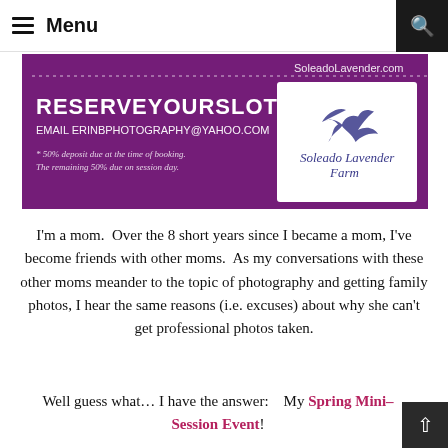Menu
[Figure (photo): Purple-background advertisement banner for Soleado Lavender Farm photography mini-session. Text reads: RESERVE YOUR SLOT! EMAIL ERINBPHOTOGRAPHY@YAHOO.COM * 50% deposit due at the time of booking. The remaining 50% due on session day. SoleadoLavender.com. Includes Soleado Lavender Farm logo with swallow bird.]
I'm a mom.  Over the 8 short years since I became a mom, I've become friends with other moms.  As my conversations with these other moms meander to the topic of photography and getting family photos, I hear the same reasons (i.e. excuses) about why she can't get professional photos taken.
Well guess what… I have the answer:    My Spring Mini-Session Event!